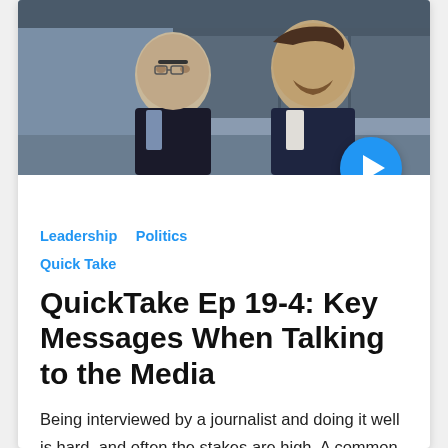[Figure (photo): Two men sitting side by side in a modern interior setting. The man on the left is older, wearing glasses and a dark blazer. The man on the right is younger with a beard, wearing a dark suit. A blue circular play button overlays the bottom-right of the image.]
Leadership   Politics
Quick Take
QuickTake Ep 19-4: Key Messages When Talking to the Media
Being interviewed by a journalist and doing it well is hard, and often the stakes are high. A common feeling afterwards is that you've failed…